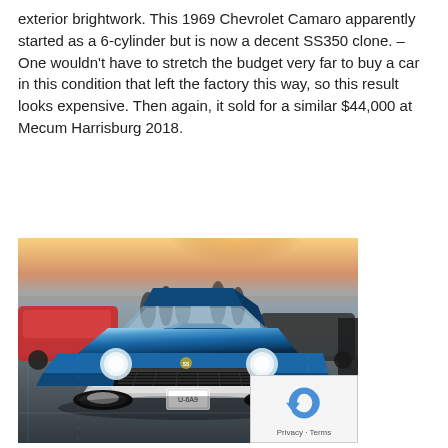exterior brightwork. This 1969 Chevrolet Camaro apparently started as a 6-cylinder but is now a decent SS350 clone. – One wouldn't have to stretch the budget very far to buy a car in this condition that left the factory this way, so this result looks expensive. Then again, it sold for a similar $44,000 at Mecum Harrisburg 2018.
[Figure (photo): A blue 1969 Chevrolet Camaro SS at what appears to be Mecum Harrisburg 2018 auction event, front view, with other classic cars and people visible in the background, warm sunlight in the background.]